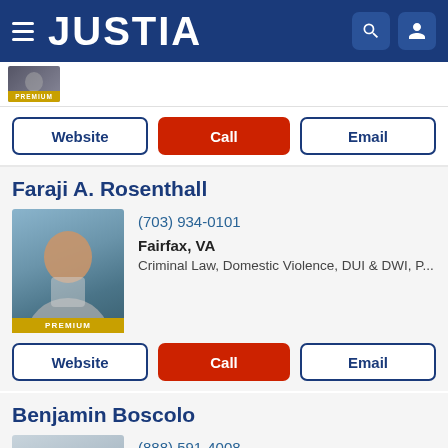JUSTIA
[Figure (logo): Justia website header with logo, hamburger menu, search and profile icons on dark blue background]
[Figure (photo): Small premium attorney thumbnail with PREMIUM badge]
Website | Call | Email
Faraji A. Rosenthall
[Figure (photo): Professional headshot of Faraji A. Rosenthall with PREMIUM badge]
(703) 934-0101
Fairfax, VA
Criminal Law, Domestic Violence, DUI & DWI, P...
Website | Call | Email
Benjamin Boscolo
[Figure (photo): Professional headshot of Benjamin Boscolo]
(888) 591-4008
Falls Church, VA, VA